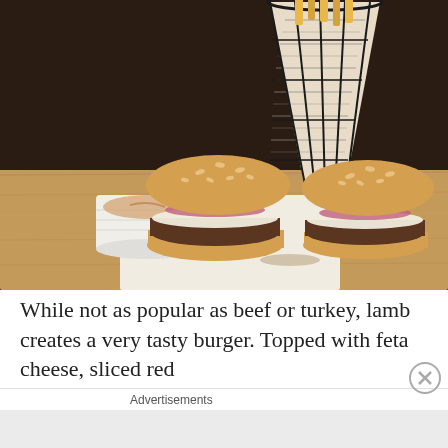[Figure (photo): Two lamb burgers with sesame seed buns, topped with feta cheese and sliced red onion, served on a wooden board with white parchment paper. A white ramekin with dipping sauce is on the left. A cone-shaped wire basket with newspaper-wrapped fries is in the background. Dark moody lighting.]
While not as popular as beef or turkey, lamb creates a very tasty burger. Topped with feta cheese, sliced red
Advertisements